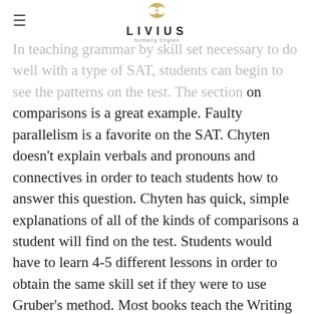LIVIUS (formerly Chyten)
In teaching grammar by skill set necessary to do well with a type of SAT, students can begin to see the patterns on the test. The section on comparisons is a great example. Faulty parallelism is a favorite on the SAT. Chyten doesn't explain verbals and pronouns and connectives in order to teach students how to answer this question. Chyten has quick, simple explanations of all of the kinds of comparisons a student will find on the test. Students would have to learn 4-5 different lessons in order to obtain the same skill set if they were to use Gruber's method. Most books teach the Writing Section in the same way: they offer a grammar refresher. What makes Chyten stand out is categorizing aptitudes together. When you present things epistemologically, the learning process takes less time and offers more impressive results. By the time Chyten has completed its